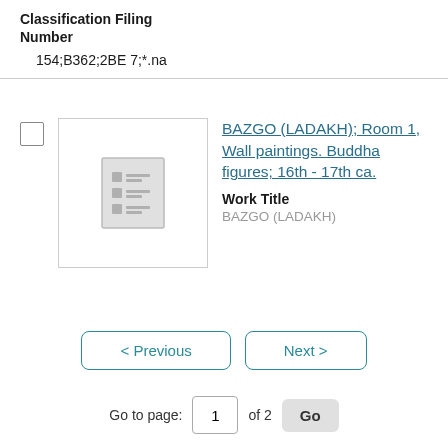Classification Filing Number
154;B362;2BE 7;*.na
[Figure (screenshot): Thumbnail placeholder icon showing a document list icon in grey]
BAZGO (LADAKH); Room 1, Wall paintings. Buddha figures; 16th - 17th ca.
Work Title
BAZGO (LADAKH)
< Previous
Next >
Go to page: 1 of 2 Go